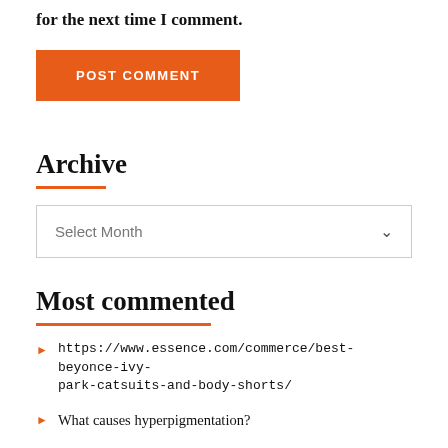for the next time I comment.
POST COMMENT
Archive
Select Month
Most commented
https://www.essence.com/commerce/best-beyonce-ivy-park-catsuits-and-body-shorts/
What causes hyperpigmentation?
Indiana University–Purdue University Spotlights 10 Black Women Philanthropists In New Initiative
Why the Gym Won't Fix Your Body Issues